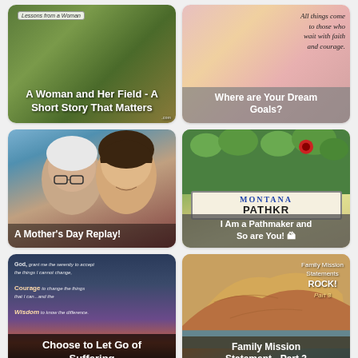[Figure (photo): Blog post thumbnail: outdoor field/nature image with text overlay 'Lessons from a Woman' badge and title 'A Woman and Her Field - A Short Story That Matters']
[Figure (photo): Blog post thumbnail: gift boxes with red ribbon, cursive text overlay about faith and courage, title overlay 'Where are Your Dream Goals?']
[Figure (photo): Blog post thumbnail: selfie of two women (older and younger) outdoors, title overlay 'A Mother's Day Replay!']
[Figure (photo): Blog post thumbnail: Montana license plate with flowers, title overlay 'I Am a Pathmaker and So are You!']
[Figure (photo): Blog post thumbnail: Serenity Prayer text on purple/sunset sky background, title overlay 'Choose to Let Go of Suffering']
[Figure (photo): Blog post thumbnail: large rock with ocean/blue water, text overlay 'Family Mission Statements ROCK! Part 3', title 'Family Mission Statement - Part 3']